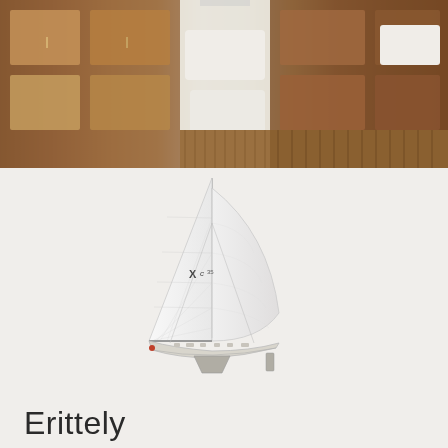[Figure (photo): Interior of a sailing yacht showing wooden cabinetry, teak flooring, white cushioned seating, and modern fittings in a panoramic view of the cabin area.]
[Figure (illustration): Side view illustration of an X-Yacht sailing boat (XC model) showing white sails including mainsail and genoa deployed, with the hull visible below. The boat has a keel and rudder visible.]
Erittely